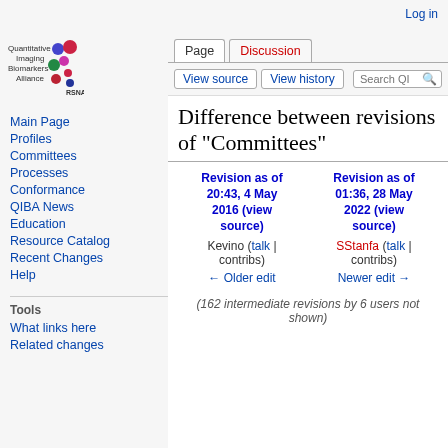Log in
[Figure (logo): Quantitative Imaging Biomarkers Alliance logo with colored dots and RSNA text]
Main Page
Profiles
Committees
Processes
Conformance
QIBA News
Education
Resource Catalog
Recent Changes
Help
Tools
What links here
Related changes
Difference between revisions of "Committees"
| Revision as of 20:43, 4 May 2016 (view source) | Revision as of 01:36, 28 May 2022 (view source) |
| --- | --- |
| Kevino (talk | contribs) | SStanfa (talk | contribs) |
| ← Older edit | Newer edit → |
(162 intermediate revisions by 6 users not shown)